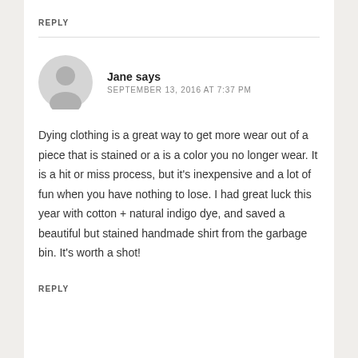REPLY
Jane says
SEPTEMBER 13, 2016 AT 7:37 PM
Dying clothing is a great way to get more wear out of a piece that is stained or a is a color you no longer wear. It is a hit or miss process, but it’s inexpensive and a lot of fun when you have nothing to lose. I had great luck this year with cotton + natural indigo dye, and saved a beautiful but stained handmade shirt from the garbage bin. It’s worth a shot!
REPLY